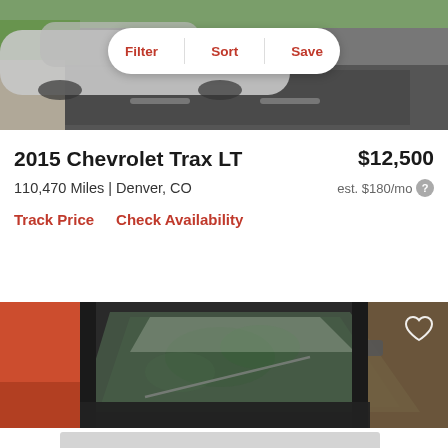[Figure (photo): Top portion of a car listing page showing a silver/grey car on a road with grass in the upper left, partially cropped. A Filter/Sort/Save toolbar overlays the image.]
Filter   Sort   Save
2015 Chevrolet Trax LT   $12,500
110,470 Miles | Denver, CO   est. $180/mo
Track Price   Check Availability
[Figure (photo): Close-up photo of a dark car windshield with reflections of trees; a red/orange vehicle is visible to the left. Heart/favorite icon in upper right.]